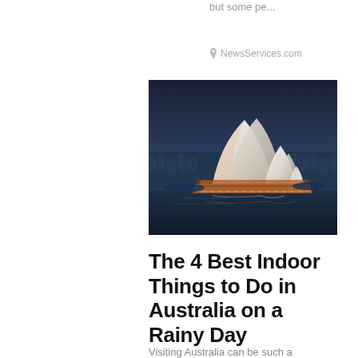but some pe...
NewsServices.com
[Figure (photo): Sydney Opera House illuminated at night against a dark blue sky, reflected in the harbor waters, with city lights visible in the background.]
The 4 Best Indoor Things to Do in Australia on a Rainy Day
Visiting Australia can be such a